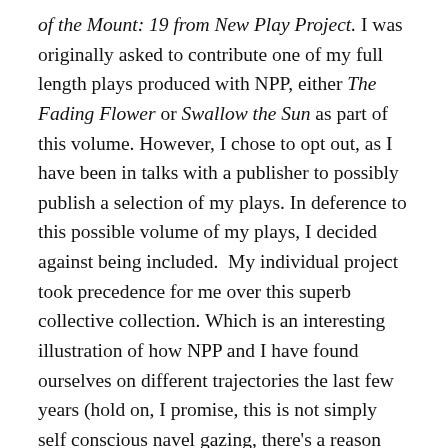of the Mount: 19 from New Play Project. I was originally asked to contribute one of my full length plays produced with NPP, either The Fading Flower or Swallow the Sun as part of this volume. However, I chose to opt out, as I have been in talks with a publisher to possibly publish a selection of my plays. In deference to this possible volume of my plays, I decided against being included.  My individual project took precedence for me over this superb collective collection. Which is an interesting illustration of how NPP and I have found ourselves on different trajectories the last few years (hold on, I promise, this is not simply self conscious navel gazing, there's a reason I'm inserting myself into this narrative).